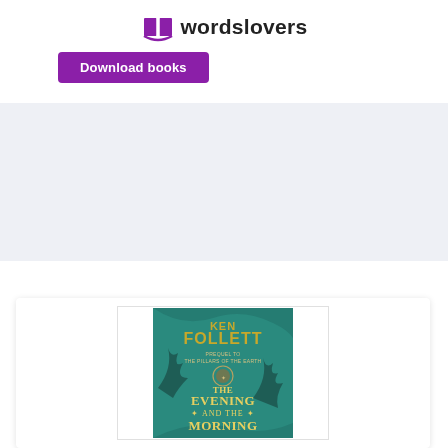[Figure (logo): Wordslovers logo with open book icon and text 'wordslovers']
Download books
[Figure (photo): Book cover of 'The Evening and the Morning' by Ken Follett, teal/green background with gold lettering]